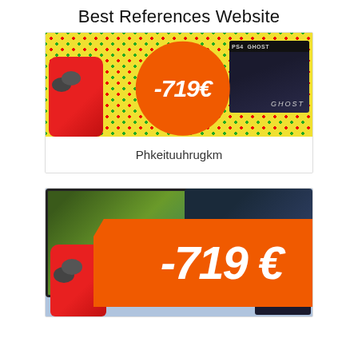Best References Website
[Figure (other): Promotional card with yellow dotted background, red iPhone, orange circle badge showing -719€, and PS4 Ghost of Tsushima game box]
Phkeituuhrugkm
[Figure (other): Promotional card with TV, laptop, red iPhone, and orange ribbon banner showing -719€, with Ghost of Tsushima game visible in bottom right corner]